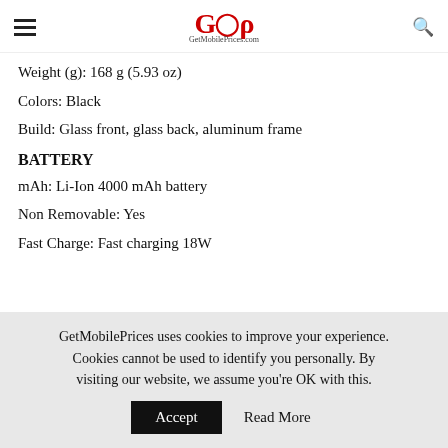GMP GetMobilePrices.com
Weight (g): 168 g (5.93 oz)
Colors: Black
Build: Glass front, glass back, aluminum frame
BATTERY
mAh: Li-Ion 4000 mAh battery
Non Removable: Yes
Fast Charge: Fast charging 18W
GetMobilePrices uses cookies to improve your experience. Cookies cannot be used to identify you personally. By visiting our website, we assume you're OK with this.